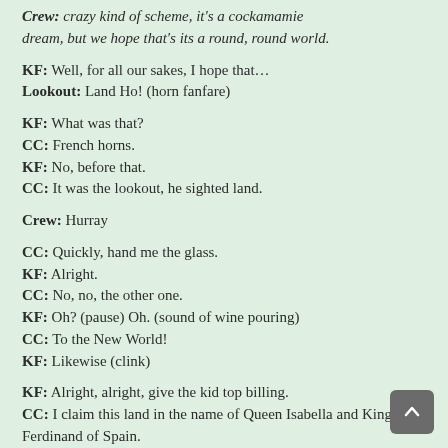Crew: crazy kind of scheme, it's a cockamamie dream, but we hope that's its a round, round world.
KF: Well, for all our sakes, I hope that...
Lookout: Land Ho! (horn fanfare)
KF: What was that?
CC: French horns.
KF: No, before that.
CC: It was the lookout, he sighted land.
Crew: Hurray
CC: Quickly, hand me the glass.
KF: Alright.
CC: No, no, the other one.
KF: Oh? (pause) Oh. (sound of wine pouring)
CC: To the New World!
KF: Likewise (clink)
KF: Alright, alright, give the kid top billing.
CC: I claim this land in the name of Queen Isabella and King Ferdinand of Spain.
Indian Chief (IC): How?
CC: Well, first I stick the flag in the sand, and then I...